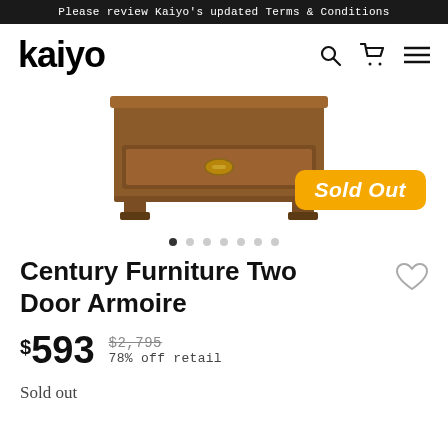Please review Kaiyo's updated Terms & Conditions
[Figure (logo): KAIYO logo in bold black lowercase letters]
[Figure (photo): Wooden armoire dresser with drawer and brass pull, with a yellow 'Sold Out' badge overlay]
Century Furniture Two Door Armoire
$593  $2,795  78% off retail
Sold out